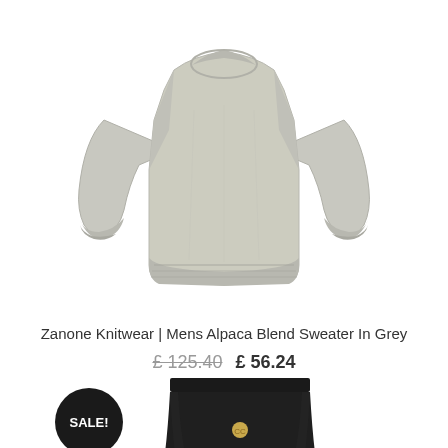[Figure (photo): A grey alpaca blend crew-neck sweater photographed on a white background, showing both arms extended to either side.]
Zanone Knitwear | Mens Alpaca Blend Sweater In Grey
£ 125.40  £ 56.24
[Figure (photo): A black mini skirt with a small gold logo brooch, partially visible. A black circular SALE! badge is overlaid in the upper left.]